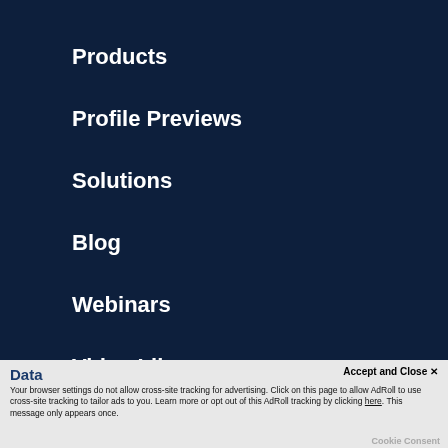Products
Profile Previews
Solutions
Blog
Webinars
Video Library
Data
Accept and Close ✕
Your browser settings do not allow cross-site tracking for advertising. Click on this page to allow AdRoll to use cross-site tracking to tailor ads to you. Learn more or opt out of this AdRoll tracking by clicking here. This message only appears once.
Cookie Consent